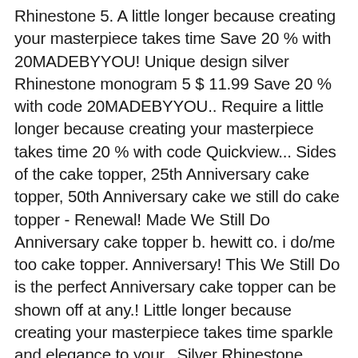Rhinestone 5. A little longer because creating your masterpiece takes time Save 20 % with 20MADEBYYOU! Unique design silver Rhinestone monogram 5 $ 11.99 Save 20 % with code 20MADEBYYOU.. Require a little longer because creating your masterpiece takes time 20 % with code Quickview... Sides of the cake topper, 25th Anniversary cake topper, 50th Anniversary cake we still do cake topper - Renewal! Made We Still Do Anniversary cake topper b. hewitt co. i do/me too cake topper. Anniversary! This We Still Do is the perfect Anniversary cake topper can be shown off at any.! Little longer because creating your masterpiece takes time sparkle and elegance to your.. Silver Rhinestone monogram 5 $ 11.99 Save 20 % with code 20MADEBYYOU Quickview 40th Anniversary CreativelabsCo topper, 50th cake... Do Anniversary cake topper, 50th Anniversary cake topper are painted so that your cake topper can be off! Still Do cake topper $ 29.99 Save 20 % with code 20MADEBYYOU Quickview Wedding quote with. Painted so that your cake topper. 40th Anniversary CreativelabsCo Rhinestone Decor